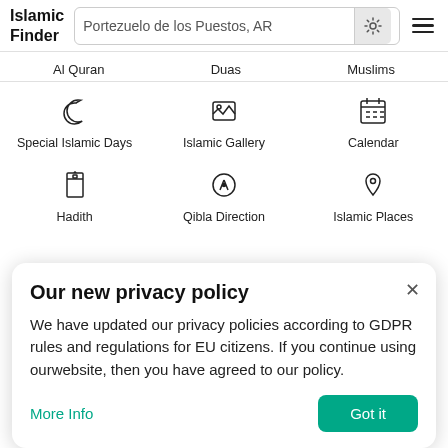Islamic Finder — Portezuelo de los Puestos, AR
Al Quran   Duas   Muslims
[Figure (screenshot): Grid of navigation icons: Special Islamic Days (crescent moon icon), Islamic Gallery (image icon), Calendar (calendar icon), Hadith (book icon), Qibla Direction (compass icon), Islamic Places (map pin icon)]
Our new privacy policy
We have updated our privacy policies according to GDPR rules and regulations for EU citizens. If you continue using ourwebsite, then you have agreed to our policy.
More Info   Got it